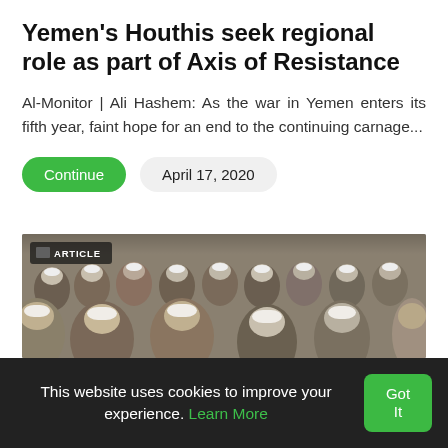Yemen's Houthis seek regional role as part of Axis of Resistance
Al-Monitor | Ali Hashem: As the war in Yemen enters its fifth year, faint hope for an end to the continuing carnage...
Continue | April 17, 2020
[Figure (photo): Crowd of men wearing white turbans and traditional dress seated in rows at a conference or gathering, with an ARTICLE badge overlay in the top-left corner.]
This website uses cookies to improve your experience. Learn More   Got It